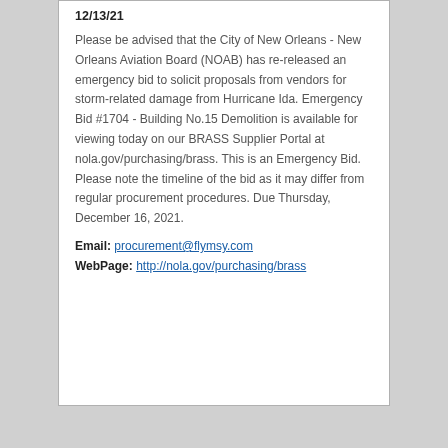12/13/21
Please be advised that the City of New Orleans - New Orleans Aviation Board (NOAB) has re-released an emergency bid to solicit proposals from vendors for storm-related damage from Hurricane Ida. Emergency Bid #1704 - Building No.15 Demolition is available for viewing today on our BRASS Supplier Portal at nola.gov/purchasing/brass. This is an Emergency Bid. Please note the timeline of the bid as it may differ from regular procurement procedures. Due Thursday, December 16, 2021.
Email: procurement@flymsy.com
WebPage: http://nola.gov/purchasing/brass